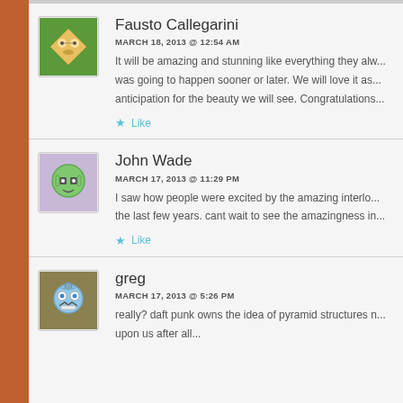Fausto Callegarini
MARCH 18, 2013 @ 12:54 AM
It will be amazing and stunning like everything they alw... was going to happen sooner or later. We will love it as... anticipation for the beauty we will see. Congratulations...
Like
John Wade
MARCH 17, 2013 @ 11:29 PM
I saw how people were excited by the amazing interlo... the last few years. cant wait to see the amazingness in...
Like
greg
MARCH 17, 2013 @ 5:26 PM
really? daft punk owns the idea of pyramid structures n... upon us after all...